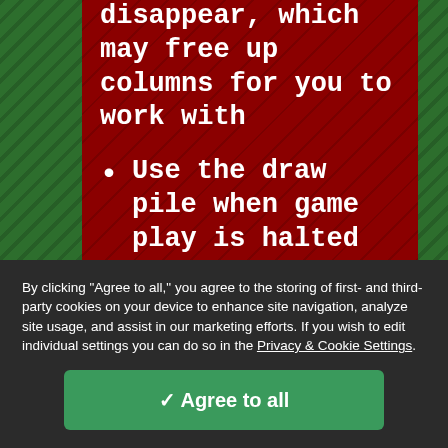disappear, which may free up columns for you to work with
Use the draw pile when game play is halted
This version is fairly simple and will teach you the foundation for playing the other
By clicking "Agree to all," you agree to the storing of first- and third-party cookies on your device to enhance site navigation, analyze site usage, and assist in our marketing efforts. If you wish to edit individual settings you can do so in the Privacy & Cookie Settings.
✓ Agree to all